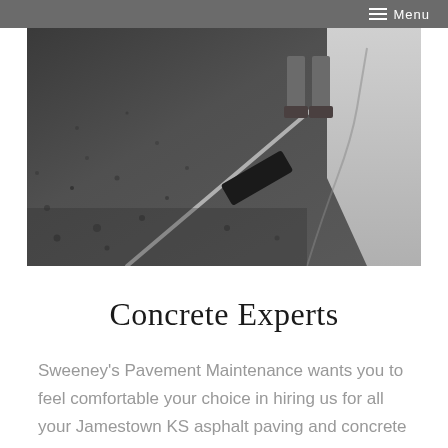Menu
[Figure (photo): Close-up photo of asphalt paving being spread with a roller tool, worker's legs visible in background near a concrete curb]
Concrete Experts
Sweeney's Pavement Maintenance wants you to feel comfortable your choice in hiring us for all your Jamestown KS asphalt paving and concrete needs. We will